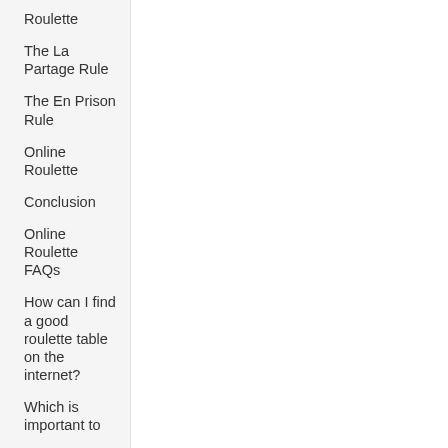Roulette
The La Partage Rule
The En Prison Rule
Online Roulette
Conclusion
Online Roulette FAQs
How can I find a good roulette table on the internet?
Which is important to